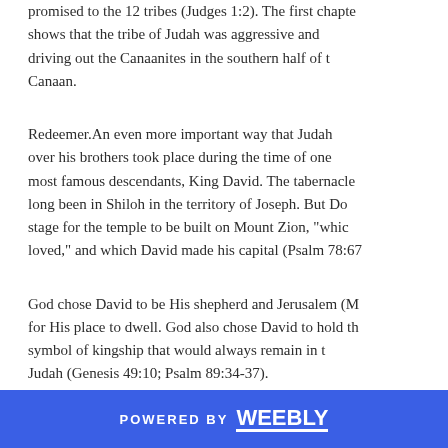promised to the 12 tribes (Judges 1:2). The first chapter shows that the tribe of Judah was aggressive and driving out the Canaanites in the southern half of Canaan.
Redeemer.An even more important way that Judah over his brothers took place during the time of one most famous descendants, King David. The tabernacle long been in Shiloh in the territory of Joseph. But David set the stage for the temple to be built on Mount Zion, "which loved," and which David made his capital (Psalm 78:67).
God chose David to be His shepherd and Jerusalem (Mount Zion) for His place to dwell. God also chose David to hold the symbol of kingship that would always remain in the tribe of Judah (Genesis 49:10; Psalm 89:34-37).
POWERED BY weebly